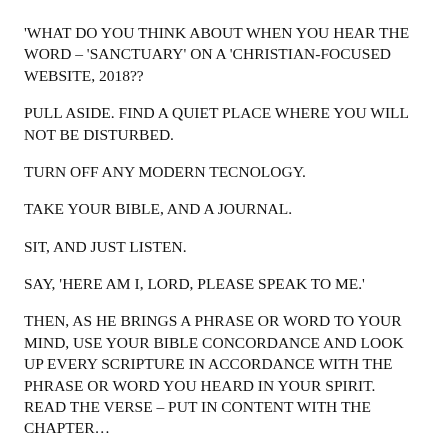'WHAT DO YOU THINK ABOUT WHEN YOU HEAR THE WORD - 'SANCTUARY' ON A 'CHRISTIAN-FOCUSED WEBSITE, 2018??
PULL ASIDE. FIND A QUIET PLACE WHERE YOU WILL NOT BE DISTURBED.
TURN OFF ANY MODERN TECNOLOGY.
TAKE YOUR BIBLE, AND A JOURNAL.
SIT, AND JUST LISTEN.
SAY, 'HERE AM I, LORD, PLEASE SPEAK TO ME.'
THEN, AS HE BRINGS A PHRASE OR WORD TO YOUR MIND, USE YOUR BIBLE CONCORDANCE AND LOOK UP EVERY SCRIPTURE IN ACCORDANCE WITH THE PHRASE OR WORD YOU HEARD IN YOUR SPIRIT.  READ THE VERSE - PUT IN CONTENT WITH THE CHAPTER...